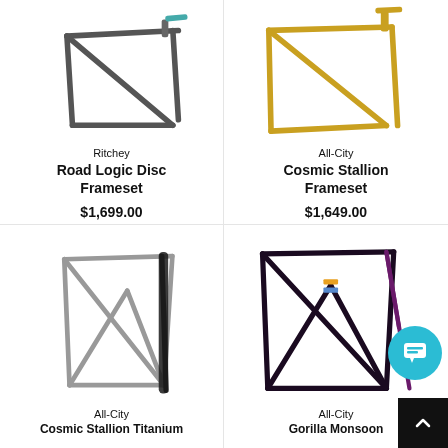[Figure (photo): Ritchey Road Logic Disc Frameset bicycle frameset, top portion visible, dark gray/silver coloring]
Ritchey
Road Logic Disc Frameset
$1,699.00
[Figure (photo): All-City Cosmic Stallion Frameset bicycle frameset, top portion visible, gold/yellow coloring]
All-City
Cosmic Stallion Frameset
$1,649.00
[Figure (photo): All-City Cosmic Stallion Titanium bicycle frameset, full frame visible, silver/titanium with black carbon fork]
All-City
Cosmic Stallion Titanium
[Figure (photo): All-City Gorilla Monsoon bicycle frameset, dark black/purple frame with multicolor accents, partially cut off]
All-City
Gorilla Monsoon